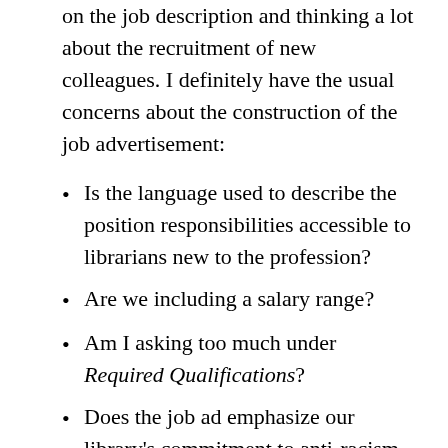on the job description and thinking a lot about the recruitment of new colleagues. I definitely have the usual concerns about the construction of the job advertisement:
Is the language used to describe the position responsibilities accessible to librarians new to the profession?
Are we including a salary range?
Am I asking too much under Required Qualifications?
Does the job ad emphasize our library's commitment to anti-racism, equity, and inclusion?
Will the position description sound appealing and welcoming to librarians from